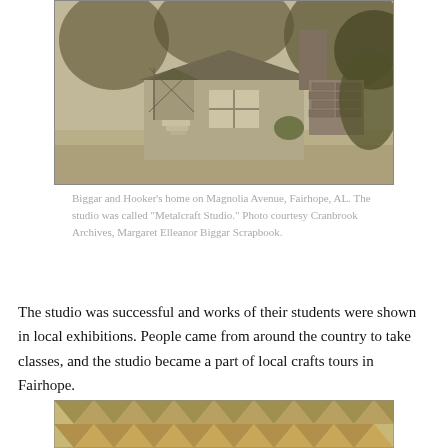[Figure (photo): Black and white photograph of a small house/studio building on Magnolia Avenue, Fairhope, AL. The structure has a chimney on the right side, a large window, steps leading to an entrance, and is surrounded by trees and lawn.]
Biggar and Hooker's home on Magnolia Avenue, Fairhope, AL. The studio was called "Metalcraft Studio." Photo courtesy Cranbrook Archives, Margaret Elleanor Biggar Scrapbook.
The studio was successful and works of their students were shown in local exhibitions. People came from around the country to take classes, and the studio became a part of local crafts tours in Fairhope.
[Figure (photo): Partial view of a textile or woven craft item with a chevron/zigzag pattern in muted earth tones, partially visible at the bottom of the page.]